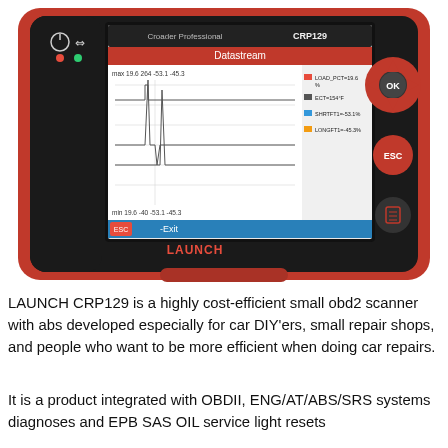[Figure (photo): LAUNCH CRP129 OBD2 scanner device (red and black) with screen showing Datastream display with waveform graph and sensor readings including LOAD_PCT=19.6%, ECT=154°F, SHRTFT1=-53.1%, LONGFT1=-45.3%. Device has OK, ESC, and menu buttons on the right side.]
LAUNCH CRP129 is a highly cost-efficient small obd2 scanner with abs developed especially for car DIY'ers, small repair shops, and people who want to be more efficient when doing car repairs.
It is a product integrated with OBDII, ENG/AT/ABS/SRS systems diagnoses and EPB SAS OIL service light resets